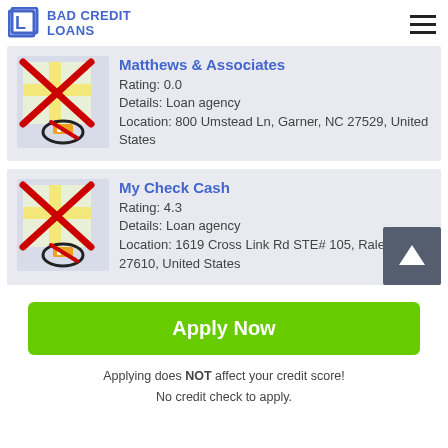BAD CREDIT LOANS
Matthews & Associates
Rating: 0.0
Details: Loan agency
Location: 800 Umstead Ln, Garner, NC 27529, United States
My Check Cash
Rating: 4.3
Details: Loan agency
Location: 1619 Cross Link Rd STE# 105, Raleigh, NC 27610, United States
Apply Now
Applying does NOT affect your credit score!
No credit check to apply.